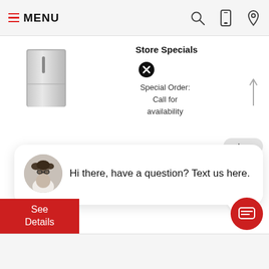MENU
[Figure (screenshot): Product image of a stainless steel refrigerator/freezer appliance]
Store Specials
Special Order: Call for availability
close
Hi there, have a question? Text us here.
See Details